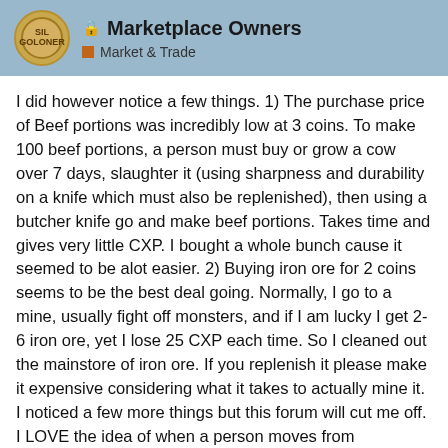Marketplace Owners | Market & Trade
I did however notice a few things. 1) The purchase price of Beef portions was incredibly low at 3 coins. To make 100 beef portions, a person must buy or grow a cow over 7 days, slaughter it (using sharpness and durability on a knife which must also be replenished), then using a butcher knife go and make beef portions. Takes time and gives very little CXP. I bought a whole bunch cause it seemed to be alot easier. 2) Buying iron ore for 2 coins seems to be the best deal going. Normally, I go to a mine, usually fight off monsters, and if I am lucky I get 2-6 iron ore, yet I lose 25 CXP each time. So I cleaned out the mainstore of iron ore. If you replenish it please make it expensive considering what it takes to actually mine it. I noticed a few more things but this forum will cut me off. I LOVE the idea of when a person moves from COLONIST to any Class, they get a “care package” of items to start them on their way.
6 / 13